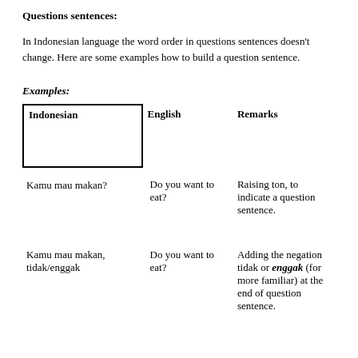Questions sentences:
In Indonesian language the word order in questions sentences doesn't change. Here are some examples how to build a question sentence.
Examples:
| Indonesian | English | Remarks |
| --- | --- | --- |
| Kamu mau makan? | Do you want to eat? | Raising ton, to indicate a question sentence. |
| Kamu mau makan, tidak/enggak | Do you want to eat? | Adding the negation tidak or enggak (for more familiar) at the end of question sentence. |